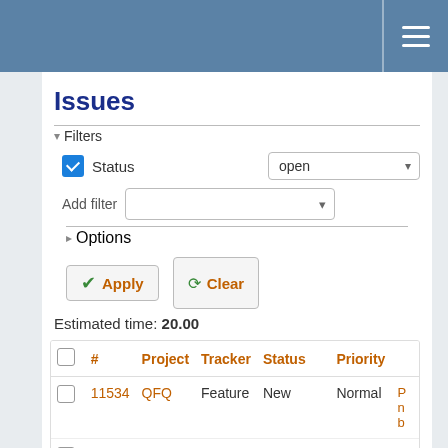Issues
Filters
Status  open
Add filter
Options
Apply   Clear
Estimated time: 20.00
|  | # | Project | Tracker | Status | Priority |
| --- | --- | --- | --- | --- | --- |
|  | 11534 | QFQ | Feature | New | Normal | P... |
|  | 9535 | QFQ | Bug | Feedback | Normal | P... |